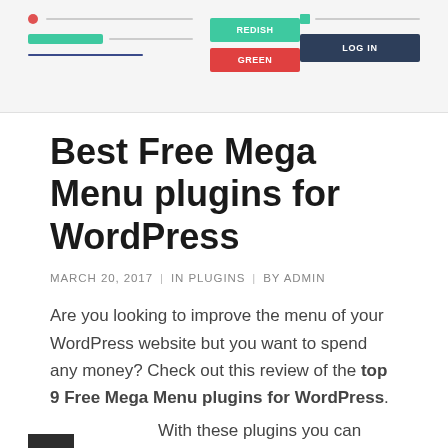[Figure (screenshot): UI screenshot showing form elements: a radio button with a dotted line, a green input bar, a dark underline; two buttons labeled REDISH and GREEN; a checkbox with label and a dark LOG IN button.]
Best Free Mega Menu plugins for WordPress
MARCH 20, 2017  |  IN PLUGINS  |  BY ADMIN
Are you looking to improve the menu of your WordPress website but you want to spend any money? Check out this review of the top 9 Free Mega Menu plugins for WordPress. With these plugins you can take advantage of a